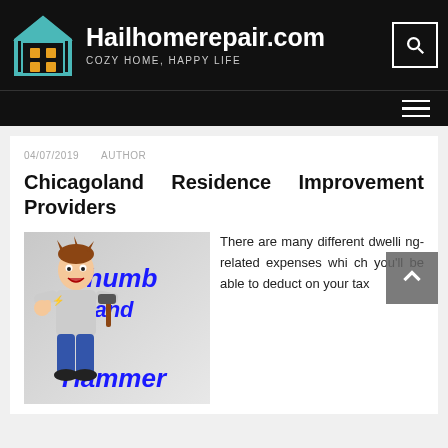Hailhomerepair.com — COZY HOME, HAPPY LIFE
04/07/2019   AUTHOR
Chicagoland Residence Improvement Providers
[Figure (illustration): Cartoon illustration of a handyman holding a hammer with text 'Thumb and Hammer' in blue letters on a grey background]
There are many different dwelling-related expenses which you'll be able to deduct on your tax